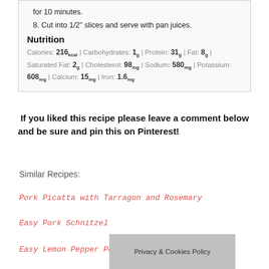for 10 minutes.
8. Cut into 1/2" slices and serve with pan juices.
Nutrition
Calories: 216kcal | Carbohydrates: 1g | Protein: 31g | Fat: 8g | Saturated Fat: 2g | Cholesterol: 98mg | Sodium: 580mg | Potassium: 608mg | Calcium: 15mg | Iron: 1.6mg
If you liked this recipe please leave a comment below and be sure and pin this on Pinterest!
Similar Recipes:
Pork Picatta with Tarragon and Rosemary
Easy Pork Schnitzel
Easy Lemon Pepper Po
Privacy & Cookies Policy